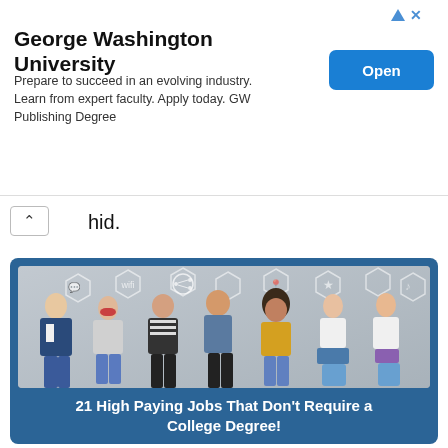[Figure (screenshot): George Washington University advertisement banner with Open button]
George Washington University
Prepare to succeed in an evolving industry. Learn from expert faculty. Apply today. GW Publishing Degree
hid.
[Figure (photo): Six young people standing against a concrete wall with social media icons, all looking at smartphones]
21 High Paying Jobs That Don't Require a College Degree!